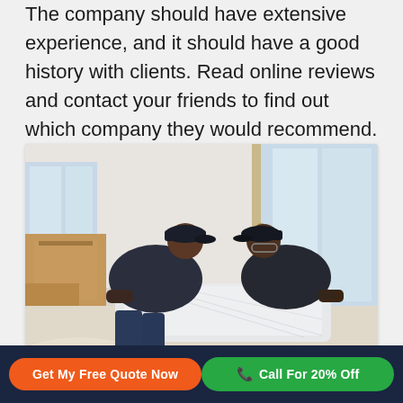The company should have extensive experience, and it should have a good history with clients. Read online reviews and contact your friends to find out which company they would recommend.
[Figure (photo): Two men in dark clothing and caps wrapping or packing furniture with plastic wrap in a room with moving boxes and a glass door in the background.]
Get My Free Quote Now
Call For 20% Off